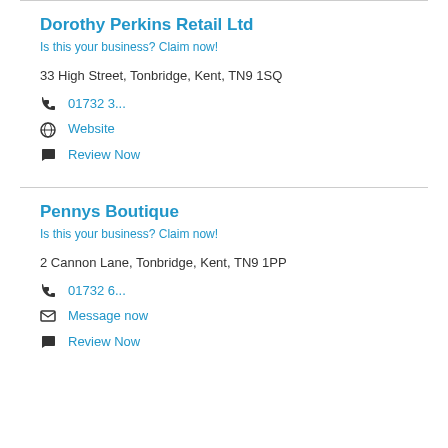Dorothy Perkins Retail Ltd
Is this your business? Claim now!
33 High Street, Tonbridge, Kent, TN9 1SQ
01732 3...
Website
Review Now
Pennys Boutique
Is this your business? Claim now!
2 Cannon Lane, Tonbridge, Kent, TN9 1PP
01732 6...
Message now
Review Now